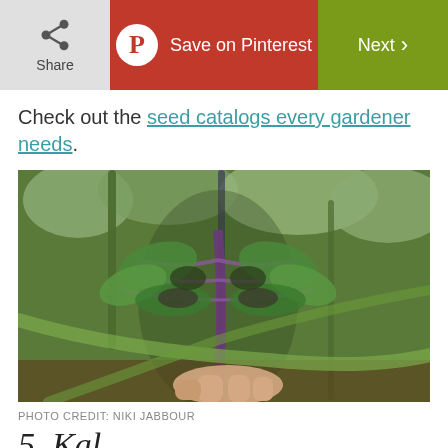Share | Save on Pinterest | Next
Check out the seed catalogs every gardener needs.
[Figure (photo): A hand holding up kale or purple-veined leafy green plant with frilly leaves, surrounded by garden plants in the background.]
PHOTO CREDIT: NIKI JABBOUR
5. Kal...